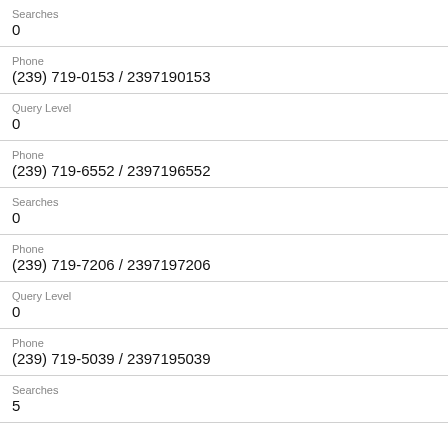Searches
0
Phone
(239) 719-0153 / 2397190153
Query Level
0
Phone
(239) 719-6552 / 2397196552
Searches
0
Phone
(239) 719-7206 / 2397197206
Query Level
0
Phone
(239) 719-5039 / 2397195039
Searches
5